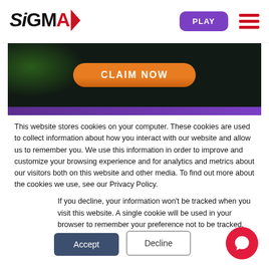SiGMA — PLAY button and hamburger menu
[Figure (screenshot): Dark banner with green glow on left, orange 'CLAIM NOW' button centered, and a purple bar below]
This website stores cookies on your computer. These cookies are used to collect information about how you interact with our website and allow us to remember you. We use this information in order to improve and customize your browsing experience and for analytics and metrics about our visitors both on this website and other media. To find out more about the cookies we use, see our Privacy Policy.
If you decline, your information won't be tracked when you visit this website. A single cookie will be used in your browser to remember your preference not to be tracked.
Accept
Decline